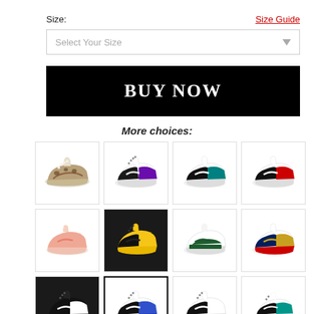Size:
Size Guide
Select Your Size
BUY NOW
More choices:
[Figure (photo): Grid of 12 Air Jordan 1 Mid sneaker product images in various colorways including animal print, purple/black/white, teal/black/white, black/white/red, pink, yellow/black, green/white, navy/gold/red, black/white, white/black/blue (selected), black/white, and white/black/teal]
[Figure (screenshot): E-commerce product page section showing size selector, BUY NOW button, and a 4x3 grid of sneaker images labeled More choices]